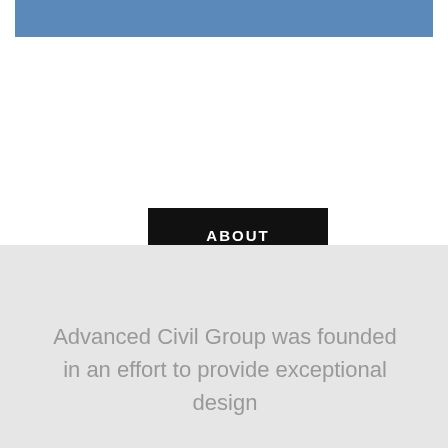[Figure (illustration): Blue horizontal banner bar at the top of the page]
ABOUT
Advanced Civil Group was founded in an effort to provide exceptional design